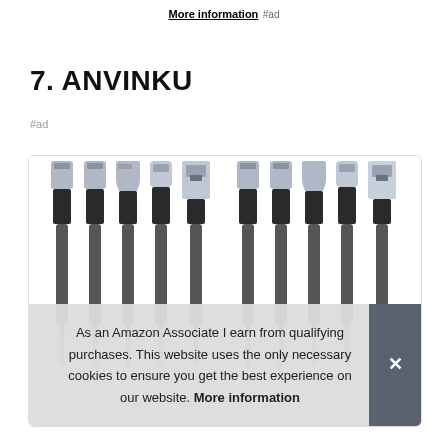More information #ad
7. ANVINKU
#ad
[Figure (photo): Product photo showing multiple USB cables with metallic silver and black connectors arranged side by side, showing both USB-A and USB-C connector types]
As an Amazon Associate I earn from qualifying purchases. This website uses the only necessary cookies to ensure you get the best experience on our website. More information